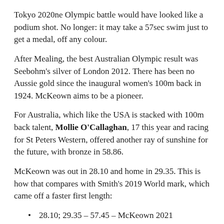Tokyo 2020ne Olympic battle would have looked like a podium shot. No longer: it may take a 57sec swim just to get a medal, off any colour.
After Mealing, the best Australian Olympic result was Seebohm's silver of London 2012. There has been no Aussie gold since the inaugural women's 100m back in 1924. McKeown aims to be a pioneer.
For Australia, which like the USA is stacked with 100m back talent, Mollie O'Callaghan, 17 this year and racing for St Peters Western, offered another ray of sunshine for the future, with bronze in 58.86.
McKeown was out in 28.10 and home in 29.35. This is how that compares with Smith's 2019 World mark, which came off a faster first length:
28.10; 29.35 – 57.45 – McKeown 2021
27.74; 29.83 – 57.57 Smith, 2019